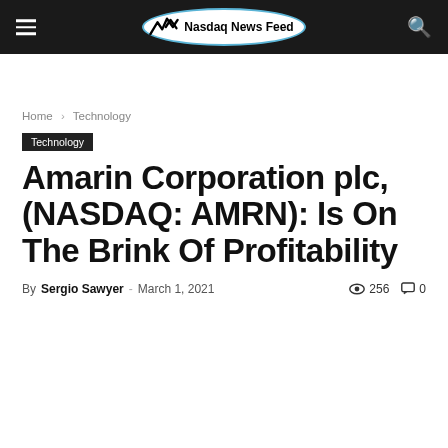Nasdaq News Feed
Home › Technology
Technology
Amarin Corporation plc, (NASDAQ: AMRN): Is On The Brink Of Profitability
By Sergio Sawyer - March 1, 2021    256   0